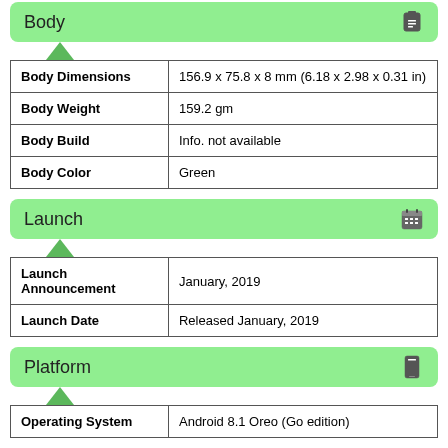Body
| Body Dimensions | 156.9 x 75.8 x 8 mm (6.18 x 2.98 x 0.31 in) |
| Body Weight | 159.2 gm |
| Body Build | Info. not available |
| Body Color | Green |
Launch
| Launch Announcement | January, 2019 |
| Launch Date | Released January, 2019 |
Platform
| Operating System | Android 8.1 Oreo (Go edition) |